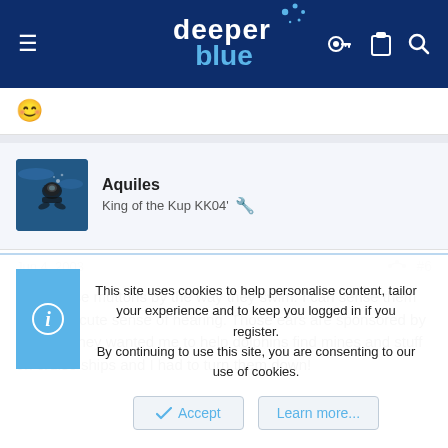deeper blue (website header with logo and navigation icons)
😊
Aquiles
King of the Kup KK04' 🔧
Jun 4, 2003  #6
I find those muttons by the way they swim. I can sense them with my acute sense of hearing. Those ears are sponsored by apelco. They wanted me to help dolphins find mines and stuff on cruise ships and I had to turn them down!
This site uses cookies to help personalise content, tailor your experience and to keep you logged in if you register.
By continuing to use this site, you are consenting to our use of cookies.
Accept  Learn more...